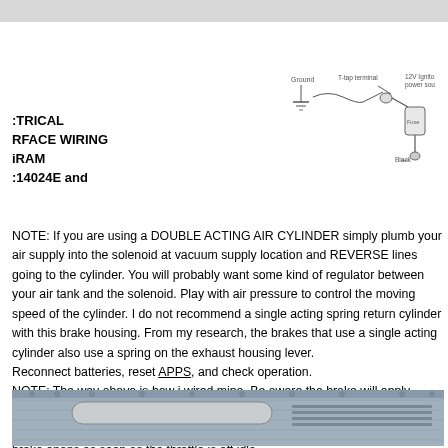CTRICAL RFACE WIRING GRAM C14024E and
[Figure (schematic): Wiring schematic showing T-tap terminal connected to 12V ignitor power source with fuse and Black wire, with Ground symbol]
NOTE: If you are using a DOUBLE ACTING AIR CYLINDER simply plumb your air supply into the solenoid at vacuum supply location and REVERSE lines going to the cylinder. You will probably want some kind of regulator between your air tank and the solenoid. Play with air pressure to control the moving speed of the cylinder. I do not recommend a single acting spring return cylinder with this brake housing. From my research, the brakes that use a single acting cylinder also use a spring on the exhaust housing lever.
Reconnect batteries, reset APPS, and check operation.
NOTE: The way above is how i wired mine. Be aware the brake will apply anytime the throttle is closed and the exhaust brake switch and key are on. There is no input from vehicle speed, gear selected or anything else. The brake opens as soon as the throttle is off idle.
[Figure (photo): Close-up photograph of an exhaust brake housing component mounted on a vehicle]